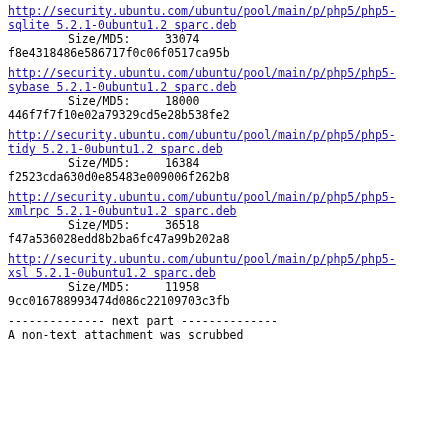http://security.ubuntu.com/ubuntu/pool/main/p/php5/php5-sqlite 5.2.1-0ubuntu1.2 sparc.deb
        Size/MD5:    33074
f8e4318486e586717f0c06f0517ca95b
http://security.ubuntu.com/ubuntu/pool/main/p/php5/php5-sybase 5.2.1-0ubuntu1.2 sparc.deb
        Size/MD5:    18000
446f7f7f10e02a79329cd5e28b538fe2
http://security.ubuntu.com/ubuntu/pool/main/p/php5/php5-tidy 5.2.1-0ubuntu1.2 sparc.deb
        Size/MD5:    16384
f2523cda630d0e85483e009006f262b8
http://security.ubuntu.com/ubuntu/pool/main/p/php5/php5-xmlrpc 5.2.1-0ubuntu1.2 sparc.deb
        Size/MD5:    36518
f47a536028edd8b2ba6fc47a99b202a8
http://security.ubuntu.com/ubuntu/pool/main/p/php5/php5-xsl 5.2.1-0ubuntu1.2 sparc.deb
        Size/MD5:    11958
9cc016788993474d086c22109703c3fb
-------------- next part --------------
A non-text attachment was scrubbed